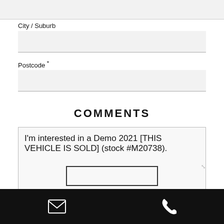City / Suburb
Postcode *
COMMENTS
I'm interested in a Demo 2021 [THIS VEHICLE IS SOLD] (stock #M20738).